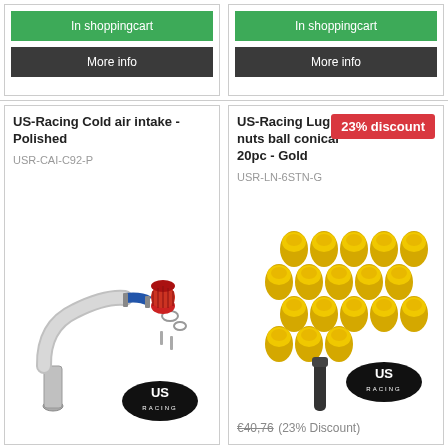[Figure (screenshot): Two product card tops with green 'In shoppingcart' buttons and dark 'More info' buttons]
US-Racing Cold air intake - Polished
USR-CAI-C92-P
[Figure (photo): Cold air intake kit with polished pipe, blue hose, clamps, and red cone filter, US Racing logo]
23% discount
US-Racing Lug nuts ball conical 20pc - Gold
USR-LN-6STN-G
[Figure (photo): Gold lug nuts set of 20 pieces with black socket tool, US Racing logo]
€40,76  (23% Discount)